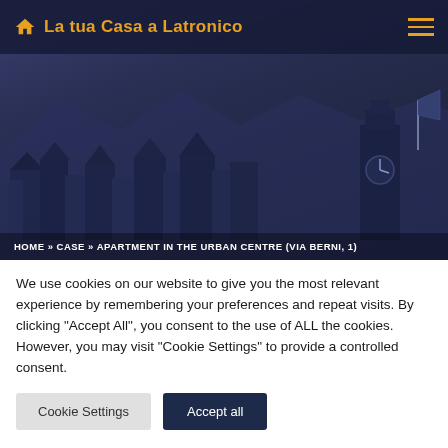La tua Casa a Latronico
[Figure (photo): Hero image of Latronico town with dark navy overlay showing rooftops, buildings, and a clock tower against a mountainous background]
HOME » CASE » APARTMENT IN THE URBAN CENTRE (VIA BERNI, 1)
We use cookies on our website to give you the most relevant experience by remembering your preferences and repeat visits. By clicking "Accept All", you consent to the use of ALL the cookies. However, you may visit "Cookie Settings" to provide a controlled consent.
Cookie Settings | Accept all